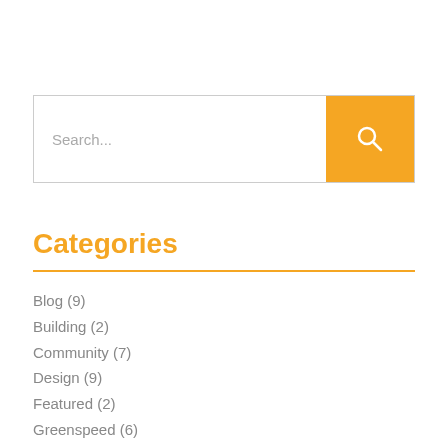[Figure (other): Search bar with text input placeholder 'Search...' and an orange search button with magnifying glass icon]
Categories
Blog (9)
Building (2)
Community (7)
Design (9)
Featured (2)
Greenspeed (6)
Home (4)
Kitchen (1)
Moneca's (Unedited) Musings (4)